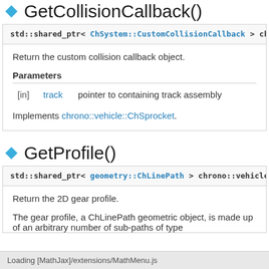GetCollisionCallback()
std::shared_ptr< ChSystem::CustomCollisionCallback > chrono::v
Return the custom collision callback object.
Parameters
|  | name | description |
| --- | --- | --- |
| [in] | track | pointer to containing track assembly |
Implements chrono::vehicle::ChSprocket.
GetProfile()
std::shared_ptr< geometry::ChLinePath > chrono::vehicle::ChSpr
Return the 2D gear profile.
The gear profile, a ChLinePath geometric object, is made up of an arbitrary number of sub-paths of type
Loading [MathJax]/extensions/MathMenu.js